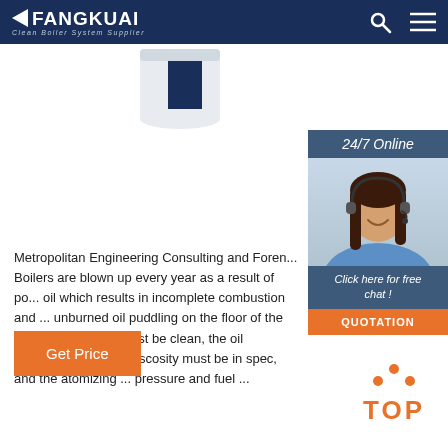FANGKUAI - Clean Boiler System Supplier
[Figure (photo): Partial view of a white and dark blue industrial boiler unit, cropped at the top]
[Figure (photo): 24/7 Online customer service representative - woman with headset smiling, with 24/7 Online header, Click here for free chat text, and QUOTATION button]
Metropolitan Engineering Consulting and Foren... Boilers are blown up every year as a result of po... oil which results in incomplete combustion and ... unburned oil puddling on the floor of the furna... the oil tips must be clean, the oil temperature m... oil viscosity must be in spec, and the atomizing ... pressure and fuel ...
[Figure (other): Orange Get Price button]
[Figure (other): Orange TOP back-to-top button with dots forming a caret shape above the text TOP]